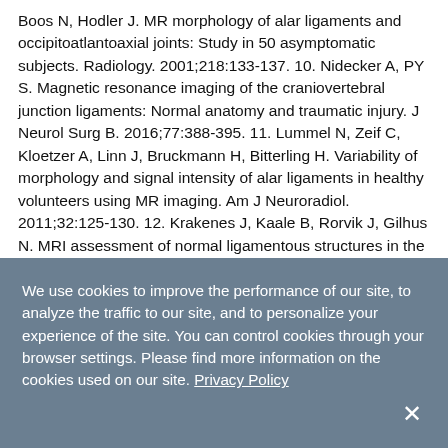Boos N, Hodler J. MR morphology of alar ligaments and occipitoatlantoaxial joints: Study in 50 asymptomatic subjects. Radiology. 2001;218:133-137. 10. Nidecker A, PY S. Magnetic resonance imaging of the craniovertebral junction ligaments: Normal anatomy and traumatic injury. J Neurol Surg B. 2016;77:388-395. 11. Lummel N, Zeif C, Kloetzer A, Linn J, Bruckmann H, Bitterling H. Variability of morphology and signal intensity of alar ligaments in healthy volunteers using MR imaging. Am J Neuroradiol. 2011;32:125-130. 12. Krakenes J, Kaale B, Rorvik J, Gilhus N. MRI assessment of normal ligamentous structures in the craniovertebral junction. Neuroradiology. 2001;43:1089-1097. 13. Statistical test calculators.
We use cookies to improve the performance of our site, to analyze the traffic to our site, and to personalize your experience of the site. You can control cookies through your browser settings. Please find more information on the cookies used on our site. Privacy Policy